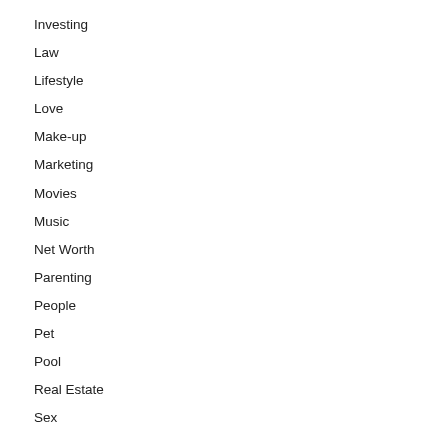Investing
Law
Lifestyle
Love
Make-up
Marketing
Movies
Music
Net Worth
Parenting
People
Pet
Pool
Real Estate
Sex